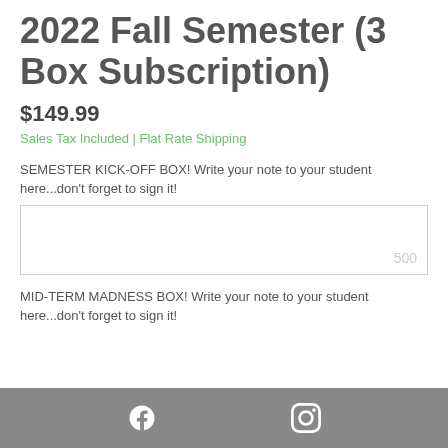2022 Fall Semester (3 Box Subscription)
$149.99
Sales Tax Included | Flat Rate Shipping
SEMESTER KICK-OFF BOX! Write your note to your student here...don't forget to sign it!
MID-TERM MADNESS BOX! Write your note to your student here...don't forget to sign it!
Social media icons: Facebook, Instagram